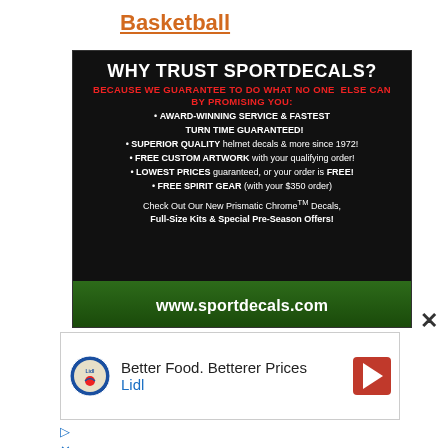Basketball
[Figure (infographic): SportDecals advertisement on dark background with football field at bottom. Headline: WHY TRUST SPORTDECALS? BECAUSE WE GUARANTEE TO DO WHAT NO ONE ELSE CAN BY PROMISING YOU: bullet points about award-winning service, superior quality, free custom artwork, lowest prices, free spirit gear, and website www.sportdecals.com]
[Figure (infographic): Lidl grocery store advertisement: Better Food. Betterer Prices. Lidl, with Lidl logo and navigation arrow icon]
▷ ✕